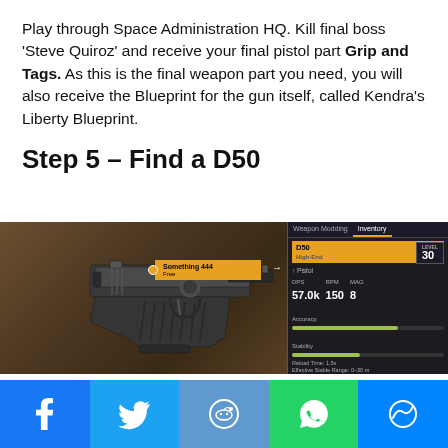Play through Space Administration HQ. Kill final boss 'Steve Quiroz' and receive your final pistol part Grip and Tags. As this is the final weapon part you need, you will also receive the Blueprint for the gun itself, called Kendra's Liberty Blueprint.
Step 5 – Find a D50
[Figure (screenshot): In-game screenshot showing a Desert Eagle style pistol in a weapon modding screen. The weapon name tag shows 'Something 444 Free' on an orange tooltip. On the right side, the Weapon Modding / Inventory UI panel shows stats: DMG 57.0k, RPM 150, MAG 8, Level 30, Accuracy bar, and other details including Perks and Series sections.]
[Figure (infographic): Social sharing bar at bottom with icons for Facebook (blue), Twitter (light blue), Reddit (medium blue), WhatsApp (green), and Messenger (blue)]